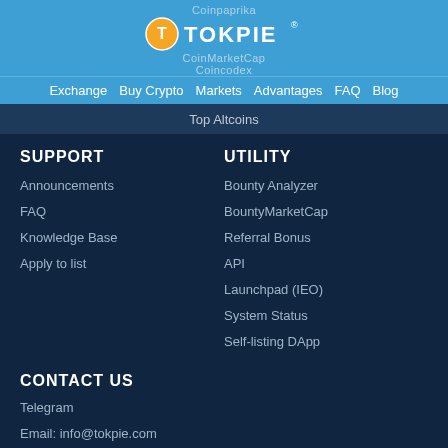Coinpaprika
[Figure (logo): Tokpie logo with circular T icon and TOKPIE text]
CoinMarketCap
CoinCodex
Exchange  Buy Crypto  Markets  Advantages  FAQ  Blog
Top Altcoins
SUPPORT
Announcements
FAQ
Knowledge Base
Apply to list
UTILITY
Bounty Analyzer
BountyMarketCap
Referral Bonus
API
Launchpad (IEO)
System Status
Self-listing DApp
CONTACT US
Telegram
Email: info@tokpie.com